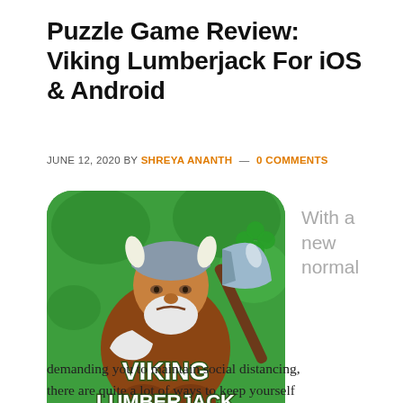Puzzle Game Review: Viking Lumberjack For iOS & Android
JUNE 12, 2020 BY SHREYA ANANTH — 0 COMMENTS
[Figure (illustration): Viking Lumberjack game app icon showing a viking character with axe on green background with text 'VIKING LUMBERJACK']
With a new normal
demanding you to maintain social distancing, there are quite a lot of ways to keep yourself